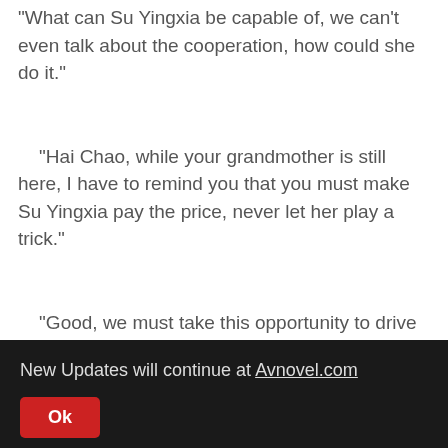"What can Su Yingxia be capable of, we can't even talk about the cooperation, how could she do it."
"Hai Chao, while your grandmother is still here, I have to remind you that you must make Su Yingxia pay the price, never let her play a trick."
"Good, we must take this opportunity to drive Su Yingxia's family out of the Su family."
New Updates will continue at Avnovel.com